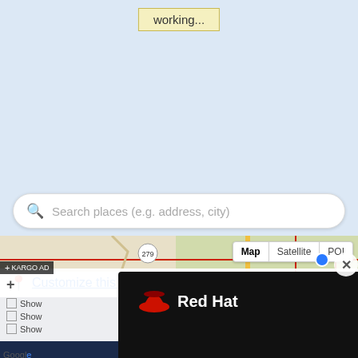working...
Search places (e.g. address, city)
[Figure (map): Google map showing San Luis area with road overlay, Canon Ponderosa label, route 279, and map/satellite/POI toggle buttons]
[Figure (photo): Red Hat advertisement overlay showing Red Hat logo and a person celebrating in front of a computer screen]
Customize this map
mapBuilder